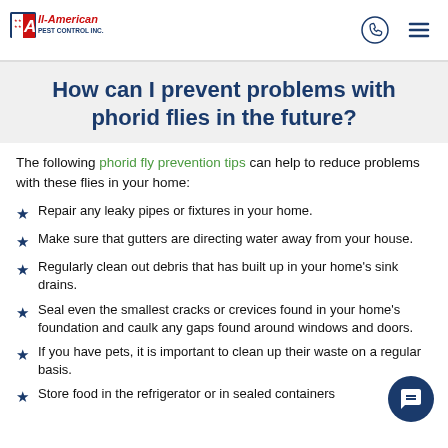All-American Pest Control Inc.
How can I prevent problems with phorid flies in the future?
The following phorid fly prevention tips can help to reduce problems with these flies in your home:
Repair any leaky pipes or fixtures in your home.
Make sure that gutters are directing water away from your house.
Regularly clean out debris that has built up in your home's sink drains.
Seal even the smallest cracks or crevices found in your home's foundation and caulk any gaps found around windows and doors.
If you have pets, it is important to clean up their waste on a regular basis.
Store food in the refrigerator or in sealed containers